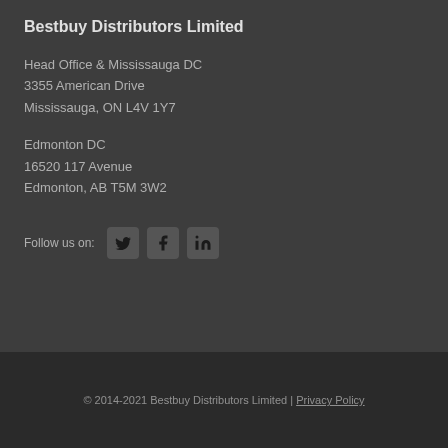Bestbuy Distributors Limited
Head Office & Mississauga DC
3355 American Drive
Mississauga, ON L4V 1Y7
Edmonton DC
16520 117 Avenue
Edmonton, AB T5M 3W2
Follow us on:
[Figure (infographic): Social media icons: Twitter, Facebook, LinkedIn]
© 2014-2021 Bestbuy Distributors Limited | Privacy Policy